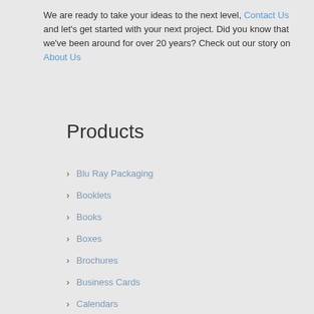We are ready to take your ideas to the next level, Contact Us and let's get started with your next project. Did you know that we've been around for over 20 years? Check out our story on About Us
Products
Blu Ray Packaging
Booklets
Books
Boxes
Brochures
Business Cards
Calendars
Cannabis, CBD, and Hemp Oil Packaging
Carbonless Forms
Cartons
Catalogs